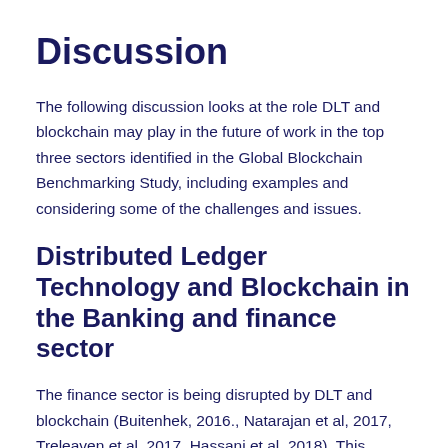Discussion
The following discussion looks at the role DLT and blockchain may play in the future of work in the top three sectors identified in the Global Blockchain Benchmarking Study, including examples and considering some of the challenges and issues.
Distributed Ledger Technology and Blockchain in the Banking and finance sector
The finance sector is being disrupted by DLT and blockchain (Buitenhek, 2016., Natarajan et al, 2017, Treleaven et al, 2017, Hassani et al, 2018). This seems undeniable. Blockchain technology serves a finance use